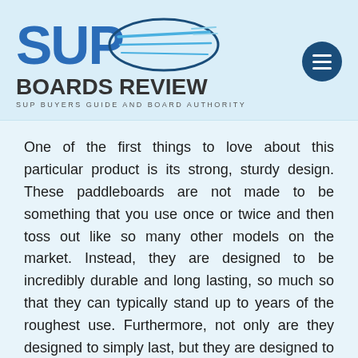[Figure (logo): SUP Boards Review logo — blue 'SUP' text with speed lines in an oval, 'BOARDS REVIEW' in dark bold below, tagline 'SUP BUYERS GUIDE AND BOARD AUTHORITY' in small caps, and a dark blue circular hamburger menu icon on the right]
One of the first things to love about this particular product is its strong, sturdy design. These paddleboards are not made to be something that you use once or twice and then toss out like so many other models on the market. Instead, they are designed to be incredibly durable and long lasting, so much so that they can typically stand up to years of the roughest use. Furthermore, not only are they designed to simply last, but they are designed to “last well,” meaning that you should never encounter a decrease in